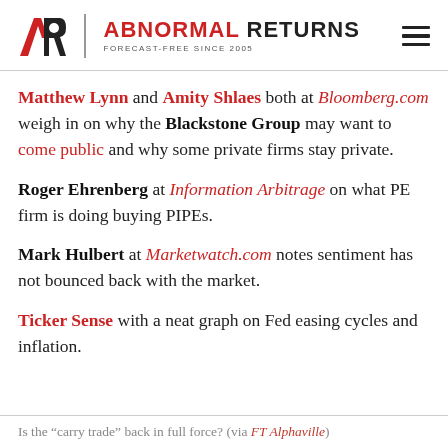ABNORMAL RETURNS — FORECAST-FREE SINCE 2005
Matthew Lynn and Amity Shlaes both at Bloomberg.com weigh in on why the Blackstone Group may want to come public and why some private firms stay private.
Roger Ehrenberg at Information Arbitrage on what PE firm is doing buying PIPEs.
Mark Hulbert at Marketwatch.com notes sentiment has not bounced back with the market.
Ticker Sense with a neat graph on Fed easing cycles and inflation.
Is the "carry trade" back in full force? (via FT Alphaville)